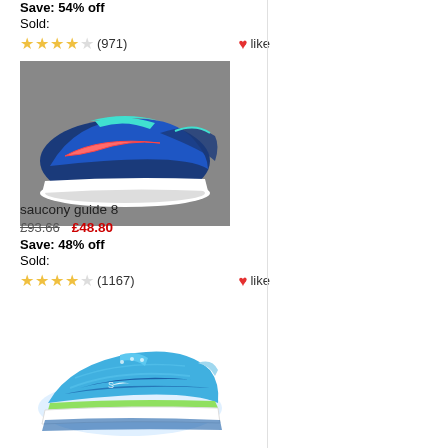Save: 54% off
Sold:
★★★★☆ (971)  ♥ like
[Figure (photo): Blue Saucony running shoes (Guide 8) shown from the side on a grey background]
saucony guide 8
£93.66  £48.80
Save: 48% off
Sold:
★★★★☆ (1167)  ♥ like
[Figure (photo): Light blue/teal Saucony running shoe shown from the side on a white background]